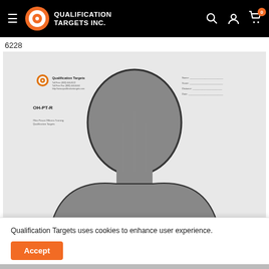Qualification Targets Inc. — navigation bar with logo, search, account, cart (0)
6228
[Figure (photo): Shooting target product image showing a silhouette human head and upper torso target (OH-PT-R) on white paper with Qualification Targets logo and form fields in the upper right corner.]
Qualification Targets uses cookies to enhance user experience.
Accept